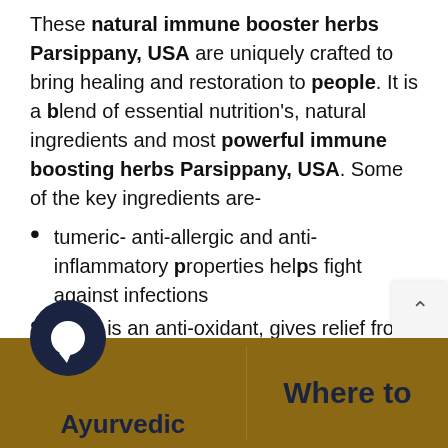These natural immune booster herbs Parsippany, USA are uniquely crafted to bring healing and restoration to people. It is a blend of essential nutrition's, natural ingredients and most powerful immune boosting herbs Parsippany, USA. Some of the key ingredients are-
tumeric- anti-allergic and anti-inflammatory properties helps fight against infections
giloy- is an anti-oxidant, gives relief from stress and anxiety.
ginseng - keeps the immune system balanced by regulating various types of immune cells.
[Figure (other): Bottom navigation bar with gold background showing a chat icon circle, 'Ayurvedic' text label on the left, and 'Where to' text on the right. A scroll-to-top button appears in the top-right corner of the bar area.]